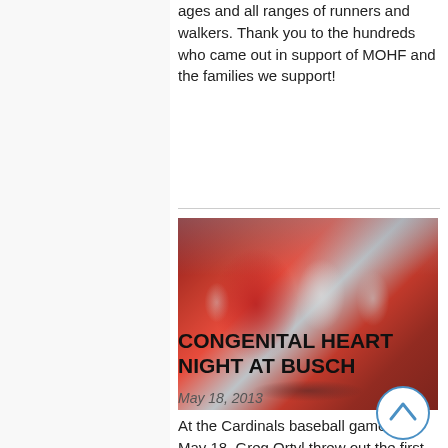ages and all ranges of runners and walkers. Thank you to the hundreds who came out in support of MOHF and the families we support!
[Figure (photo): Group photo of families wearing St. Louis Cardinals red shirts and white shirts at Busch Stadium, including adults and children with strollers]
CONGENITAL HEART NIGHT AT BUSCH
May 18, 2013
At the Cardinals baseball game on May 18, Greg Ortyl threw out the first pitch in honor of Oakes and all those affected by Congenital Heart Defects. MOHF sold about 500 tick…